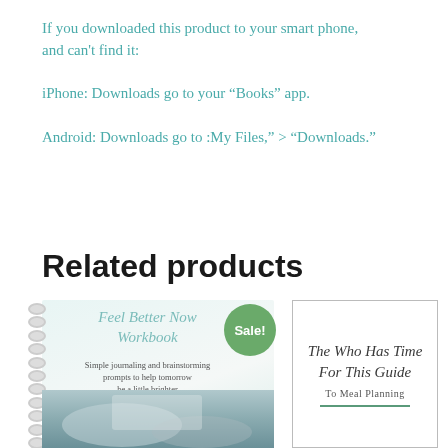If you downloaded this product to your smart phone, and can't find it:
iPhone: Downloads go to your “Books” app.
Android: Downloads go to :My Files,” > “Downloads.”
Related products
[Figure (photo): Feel Better Now Workbook product image with spiral binding and a Sale! badge. Shows a journaling workbook with text: Simple journaling and brainstorming prompts to help tomorrow be a little brighter, with a photo of hands holding a book.]
[Figure (photo): The Who Has Time For This Guide to Meal Planning product card with border and italic script title.]